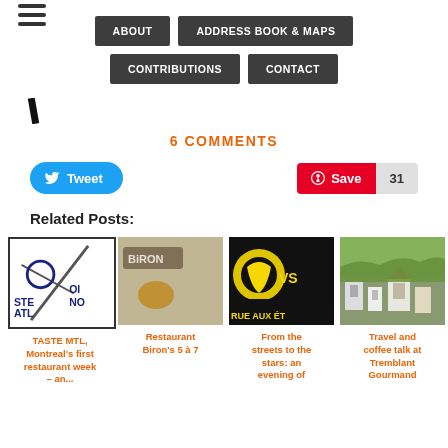ABOUT | ADDRESS BOOK & MAPS | CONTRIBUTIONS | CONTACT
[Figure (screenshot): Small italic slash/checkmark logo icon]
6 COMMENTS
[Figure (screenshot): Tweet button (Twitter/X) and Pinterest Save button with count 31]
Related Posts:
[Figure (screenshot): Four related post thumbnails with orange titles: TASTE MTL Montreal's first restaurant week – an..., Restaurant Biron's 5 à 7, From the streets to the stars: an evening of, Travel and coffee talk at Tremblant Gourmand]